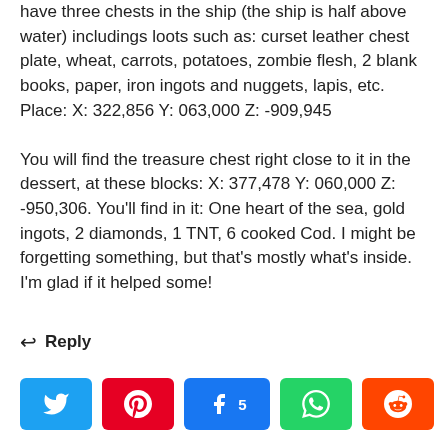have three chests in the ship (the ship is half above water) includings loots such as: curset leather chest plate, wheat, carrots, potatoes, zombie flesh, 2 blank books, paper, iron ingots and nuggets, lapis, etc. Place: X: 322,856 Y: 063,000 Z: -909,945
You will find the treasure chest right close to it in the dessert, at these blocks: X: 377,478 Y: 060,000 Z: -950,306. You'll find in it: One heart of the sea, gold ingots, 2 diamonds, 1 TNT, 6 cooked Cod. I might be forgetting something, but that's mostly what's inside. I'm glad if it helped some!
Reply
[Figure (infographic): Social share bar with Twitter, Pinterest, Facebook (5 shares), WhatsApp, Reddit buttons and a total share count of 1K SHARES]